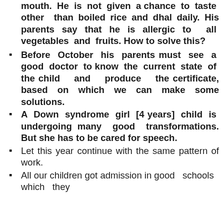mouth. He is not given a chance to taste other than boiled rice and dhal daily. His parents say that he is allergic to all vegetables and fruits. How to solve this?
Before October his parents must see a good doctor to know the current state of the child and produce the certificate, based on which we can make some solutions.
A Down syndrome girl [4 years] child is undergoing many good transformations. But she has to be cared for speech.
Let this year continue with the same pattern of work.
All our children got admission in good schools which they